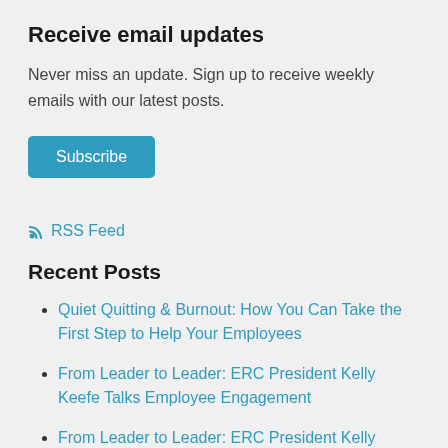Receive email updates
Never miss an update. Sign up to receive weekly emails with our latest posts.
Subscribe
RSS Feed
Recent Posts
Quiet Quitting & Burnout: How You Can Take the First Step to Help Your Employees
From Leader to Leader: ERC President Kelly Keefe Talks Employee Engagement
From Leader to Leader: ERC President Kelly Keefe Talks Internship Best Practices in